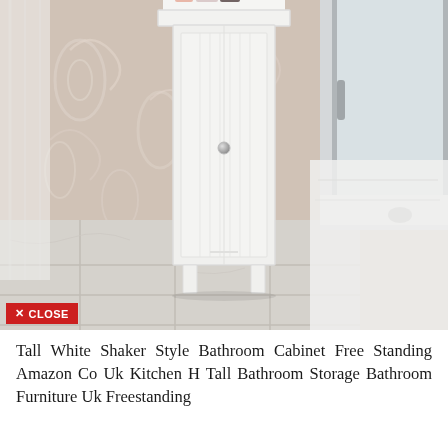[Figure (photo): Photograph of a tall white shaker-style single-door freestanding bathroom cabinet with a top shelf, placed in a bathroom corner with floral wallpaper, marble floor tiles, shower enclosure, and a white towel. A red CLOSE button overlay appears in the bottom-left corner of the image.]
Tall White Shaker Style Bathroom Cabinet Free Standing Amazon Co Uk Kitchen H Tall Bathroom Storage Bathroom Furniture Uk Freestanding